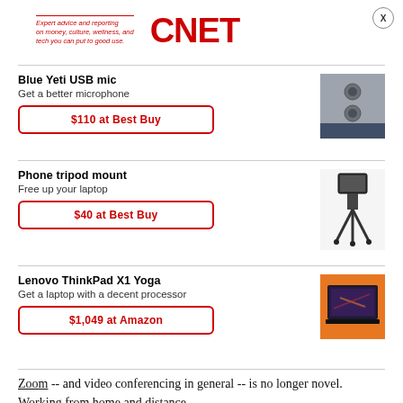Expert advice and reporting on money, culture, wellness, and tech you can put to good use. CNET
Blue Yeti USB mic
Get a better microphone
$110 at Best Buy
[Figure (photo): Blue Yeti USB microphone photo]
Phone tripod mount
Free up your laptop
$40 at Best Buy
[Figure (photo): Phone tripod mount on small tripod]
Lenovo ThinkPad X1 Yoga
Get a laptop with a decent processor
$1,049 at Amazon
[Figure (photo): Lenovo ThinkPad X1 Yoga laptop on orange background]
Zoom -- and video conferencing in general -- is no longer novel. Working from home and distance